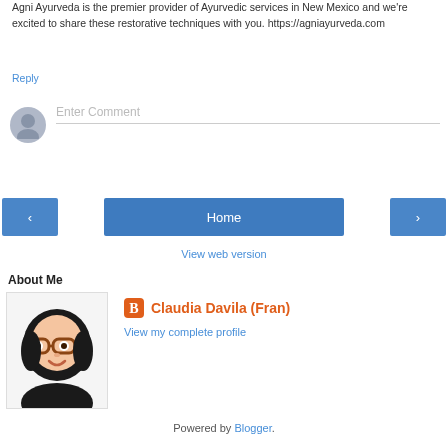Agni Ayurveda is the premier provider of Ayurvedic services in New Mexico and we're excited to share these restorative techniques with you. https://agniayurveda.com
Reply
Enter Comment
Home
View web version
About Me
Claudia Davila (Fran)
View my complete profile
Powered by Blogger.